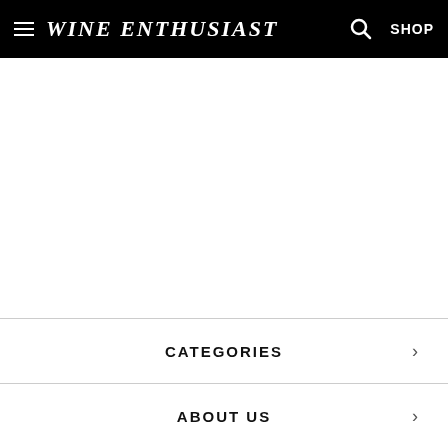Wine Enthusiast — SHOP
CATEGORIES
ABOUT US